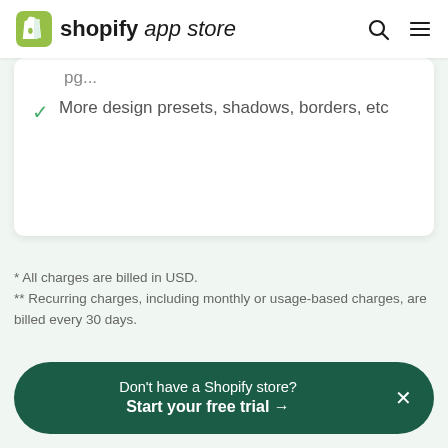shopify app store
More design presets, shadows, borders, etc
* All charges are billed in USD.
** Recurring charges, including monthly or usage-based charges, are billed every 30 days.
Don't have a Shopify store? Start your free trial →